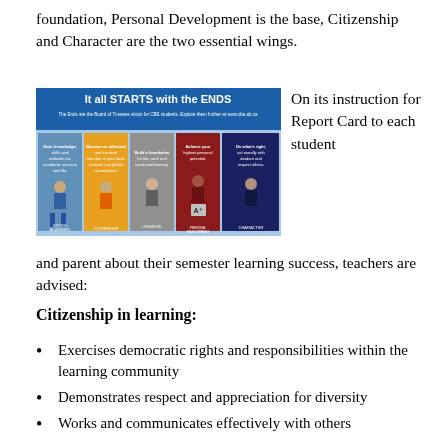foundation, Personal Development is the base, Citizenship and Character are the two essential wings.
[Figure (infographic): Banner image reading 'It all STARTS with the ENDS' showing five students holding signs representing: Academic Success, Citizenship, Life/Work/Learning, Personal Development, and Character.]
On its instruction for Report Card to each student and parent about their semester learning success, teachers are advised:
Citizenship in learning:
Exercises democratic rights and responsibilities within the learning community
Demonstrates respect and appreciation for diversity
Works and communicates effectively with others